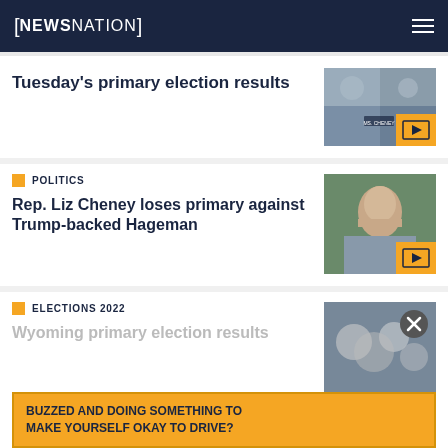NEWSNATION
Tuesday's primary election results
POLITICS
Rep. Liz Cheney loses primary against Trump-backed Hageman
ELECTIONS 2022
Wyoming primary election results
BUZZED AND DOING SOMETHING TO MAKE YOURSELF OKAY TO DRIVE?
ELECTIONS 2022